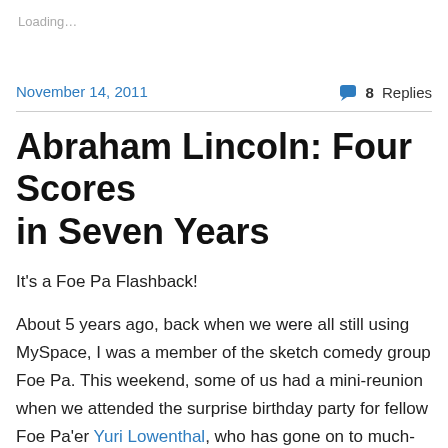Loading…
November 14, 2011
💬 8 Replies
Abraham Lincoln: Four Scores in Seven Years
It's a Foe Pa Flashback!
About 5 years ago, back when we were all still using MySpace, I was a member of the sketch comedy group Foe Pa. This weekend, some of us had a mini-reunion when we attended the surprise birthday party for fellow Foe Pa'er Yuri Lowenthal, who has gone on to much-deserved success as a voice-over artist (Sasuke Uchiha in